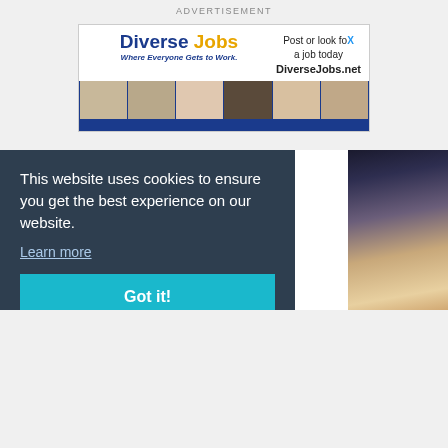ADVERTISEMENT
[Figure (illustration): Diverse Jobs advertisement banner showing logo 'Diverse Jobs / Where Everyone Gets to Work.' with tagline 'Post or look for a job today DiverseJobs.net' and a row of diverse professional faces with blue accents]
RELATED STORIES
This website uses cookies to ensure you get the best experience on our website.
Learn more
Got it!
[Figure (photo): Graduation photo showing students throwing caps in the air]
COMMUNITY COLLEGES
Students throwing graduation caps